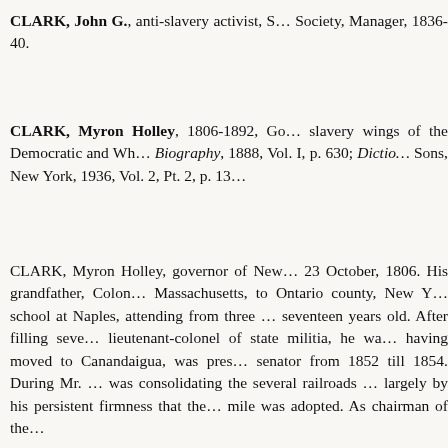CLARK, John G., anti-slavery activist, S… Society, Manager, 1836-40.
CLARK, Myron Holley, 1806-1892, Go… slavery wings of the Democratic and Wh… Biography, 1888, Vol. I, p. 630; Dictio… Sons, New York, 1936, Vol. 2, Pt. 2, p. 13…
CLARK, Myron Holley, governor of New… 23 October, 1806. His grandfather, Colon… Massachusetts, to Ontario county, New Y… school at Naples, attending from three … seventeen years old. After filling seve… lieutenant-colonel of state militia, he wa… having moved to Canandaigua, was pres… senator from 1852 till 1854. During Mr. … was consolidating the several railroads … largely by his persistent firmness that the… mile was adopted. As chairman of the…